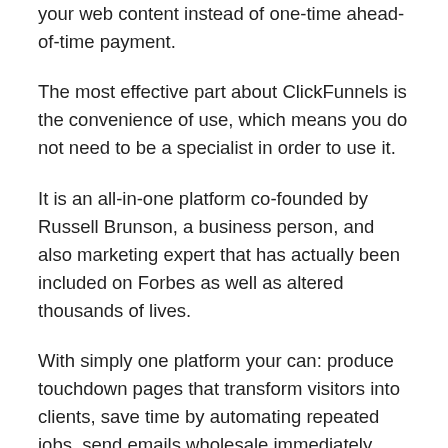your web content instead of one-time ahead-of-time payment.
The most effective part about ClickFunnels is the convenience of use, which means you do not need to be a specialist in order to use it.
It is an all-in-one platform co-founded by Russell Brunson, a business person, and also marketing expert that has actually been included on Forbes as well as altered thousands of lives.
With simply one platform your can: produce touchdown pages that transform visitors into clients, save time by automating repeated jobs, send emails wholesale immediately.